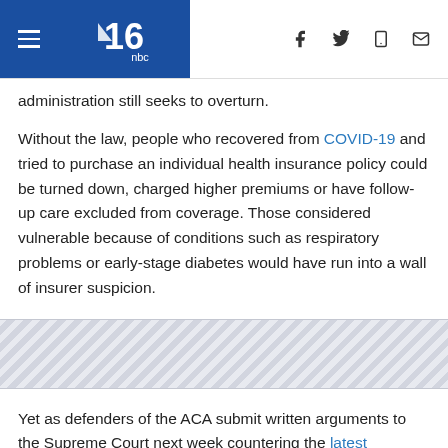NBC News navigation header with menu, logo, and social icons
administration still seeks to overturn.
Without the law, people who recovered from COVID-19 and tried to purchase an individual health insurance policy could be turned down, charged higher premiums or have follow-up care excluded from coverage. Those considered vulnerable because of conditions such as respiratory problems or early-stage diabetes would have run into a wall of insurer suspicion.
[Figure (other): Advertisement / filler strip with diagonal hatching pattern]
Yet as defenders of the ACA submit written arguments to the Supreme Court next week countering the latest challenge to its existence, the Trump administration remains adamant that former President Barack Obama's health law, known as "Obamacare," must go.